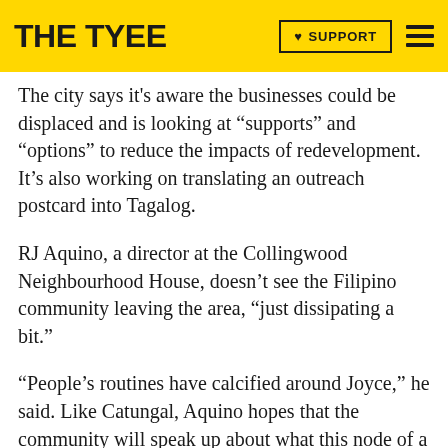THE TYEE | SUPPORT
The city says it's aware the businesses could be displaced and is looking at “supports” and “options” to reduce the impacts of redevelopment. It’s also working on translating an outreach postcard into Tagalog.
RJ Aquino, a director at the Collingwood Neighbourhood House, doesn’t see the Filipino community leaving the area, “just dissipating a bit.”
“People’s routines have calcified around Joyce,” he said. Like Catungal, Aquino hopes that the community will speak up about what this node of a neighbourhood means to them.
Aquino, who co-founded the Tulayan Filipino